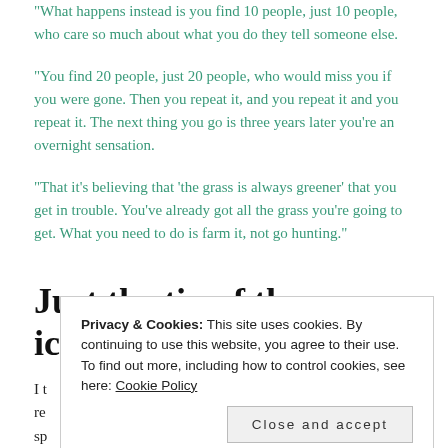"What happens instead is you find 10 people, just 10 people, who care so much about what you do they tell someone else.
"You find 20 people, just 20 people, who would miss you if you were gone. Then you repeat it, and you repeat it and you repeat it. The next thing you go is three years later you're an overnight sensation.
"That it's believing that 'the grass is always greener' that you get in trouble. You've already got all the grass you're going to get. What you need to do is farm it, not go hunting."
Just the tip of the iceberg
I t... re... sp... th...
T... Y... your stories, be uncommon and authentic, and participate in the lives of
Privacy & Cookies: This site uses cookies. By continuing to use this website, you agree to their use. To find out more, including how to control cookies, see here: Cookie Policy
Close and accept